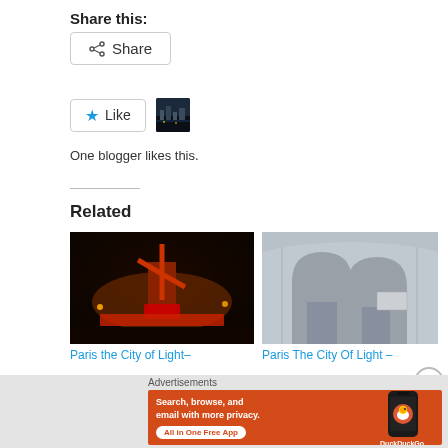Share this:
[Figure (other): Share button with share icon]
[Figure (other): Like button with star icon and blogger avatar thumbnail]
One blogger likes this.
Related
[Figure (photo): Photo of Moulin Rouge at night with windmill and red lights]
Paris the City of Light–
[Figure (photo): Photo of Paris church/building interior grey stone walls]
Paris The City Of Light –
Advertisements
[Figure (other): DuckDuckGo advertisement banner: Search, browse, and email with more privacy. All in One Free App. DuckDuckGo logo on phone.]